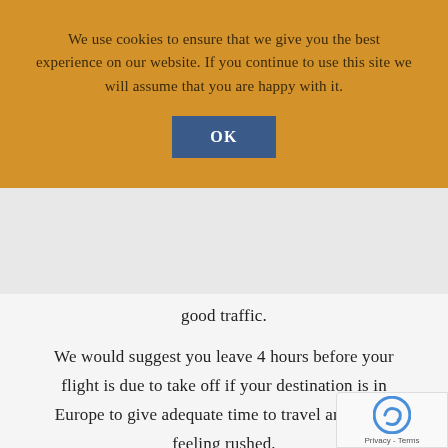We use cookies to ensure that we give you the best experience on our website. If you continue to use this site we will assume that you are happy with it.
OK
good traffic.
We would suggest you leave 4 hours before your flight is due to take off if your destination is in Europe to give adequate time to travel and avoid feeling rushed.
We recommend leaving 5 hours before your flight is due if you are flying outside of Europe.
Some times of the year we recommend